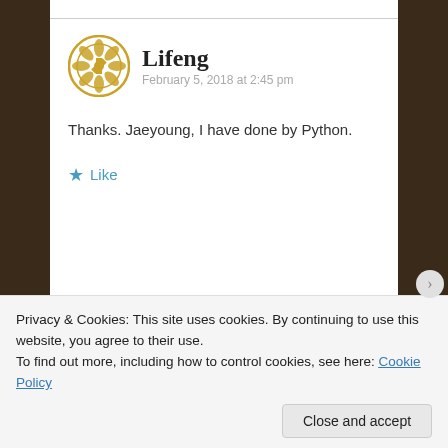Lifeng
February 5, 2018 at 2:45 pm
Thanks. Jaeyoung, I have done by Python.
Like
[Figure (illustration): Apply button (blue rounded rectangle)]
[Figure (photo): Circular profile photo of a man with glasses and beard thinking]
Privacy & Cookies: This site uses cookies. By continuing to use this website, you agree to their use.
To find out more, including how to control cookies, see here: Cookie Policy
Close and accept